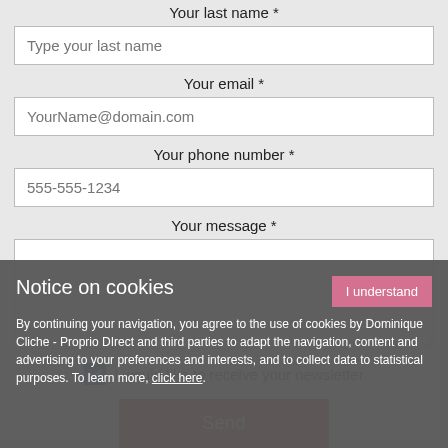Your last name *
Type your last name
Your email *
YourName@domain.com
Your phone number *
555-555-1234
Your message *
I would like to receive your newsletter
Send
Notice on cookies
I understand
By continuing your navigation, you agree to the use of cookies by Dominique Cliche - Proprio DIrect and third parties to adapt the navigation, content and advertising to your preferences and interests, and to collect data to statistical purposes. To learn more, click here.